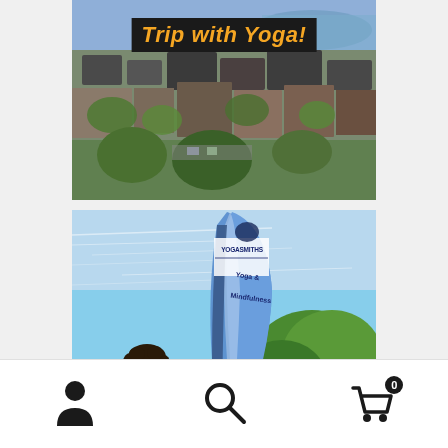[Figure (photo): Aerial view of a Scottish town with stone buildings, greenery, and water visible in the background. Text overlay reads 'Trip with Yoga!' in orange bold italic text on a dark background.]
[Figure (photo): Photo of a person with curly hair and glasses smiling, standing next to a tall feather/teardrop banner flag that reads 'YOGASMITHS Yoga & Mindfulness' on a blue sky day with a large green tree behind.]
[Figure (infographic): Navigation bar with three icons: a person/user icon on the left, a magnifying glass/search icon in the center, and a shopping cart icon with a badge showing '0' on the right.]